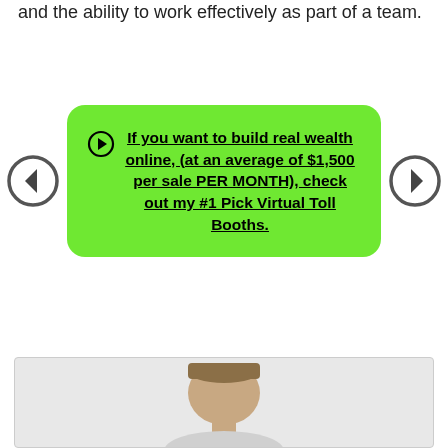and the ability to work effectively as part of a team.
[Figure (infographic): Green rounded rectangle with bold underlined CTA text: 'If you want to build real wealth online, (at an average of $1,500 per sale PER MONTH), check out my #1 Pick Virtual Toll Booths.' Flanked by two circular arrow buttons on left and right.]
[Figure (photo): Partial photo of a man's face and upper body against a light gray background, cropped at bottom of page.]